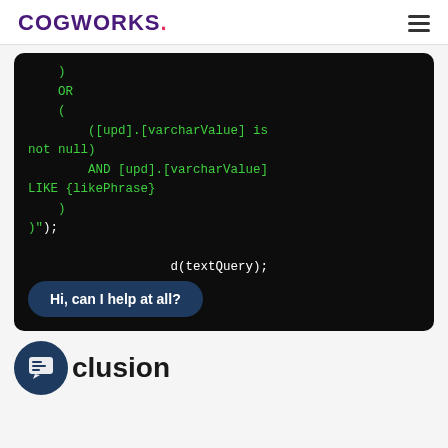COGWORKS.
[Figure (screenshot): Dark code block showing SQL-like query code in green monospace font on black background, with a chat bubble overlay saying 'Hi, can I help at all?']
clusion